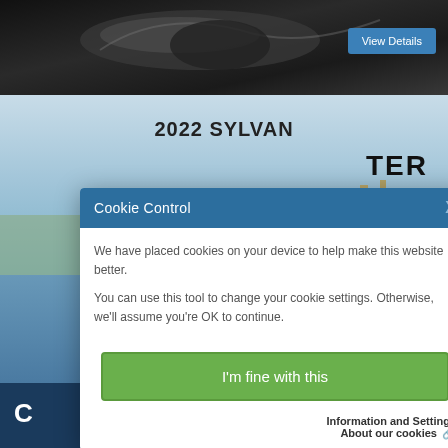[Figure (photo): Dark/monochrome top banner image, appears to be a bird photo]
View Details
[Figure (photo): Boat on a lake/river with reeds in background, clear sky]
2022 SYLVAN
TER
View Details
Cookie Control
We have placed cookies on your device to help make this website better.

You can use this tool to change your cookie settings. Otherwise, we'll assume you're OK to continue.
I'm fine with this
Information and Settings
About our cookies
Back to top
2022 SYLVAN